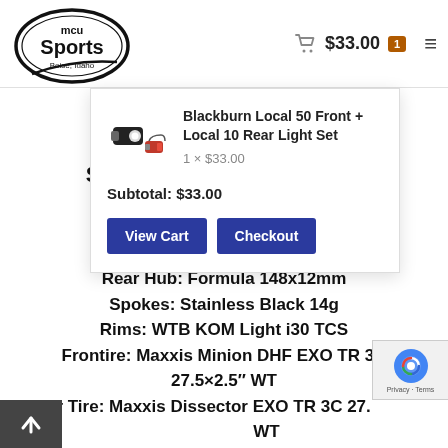[Figure (logo): MCU Sports logo — oval shape with 'mcu' above 'Sports' in large bold text, 'Boise, Idaho' below, with a swoosh/checkmark accent]
$33.00
Blackburn Local 50 Front + Local 10 Rear Light Set
1 × $33.00
Subtotal: $33.00
View Cart
Checkout
Rear Hub: Formula 148x12mm
Spokes: Stainless Black 14g
Rims: WTB KOM Light i30 TCS
Frontire: Maxxis Minion DHF EXO TR 3C 27.5×2.5″ WT
Rear Tire: Maxxis Dissector EXO TR 3C 27. WT
Paint Color: Matte Faux Raw w/ Gloss Mete